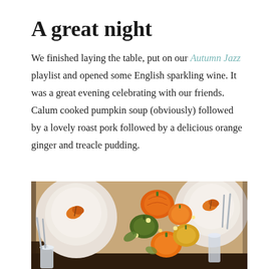A great night
We finished laying the table, put on our Autumn Jazz playlist and opened some English sparkling wine. It was a great evening celebrating with our friends. Calum cooked pumpkin soup (obviously) followed by a lovely roast pork followed by a delicious orange ginger and treacle pudding.
[Figure (photo): Overhead view of an autumn dinner table setting with white plates decorated with leaf motifs, orange and green pumpkins as centerpiece decorations, fairy lights, and crystal glassware.]